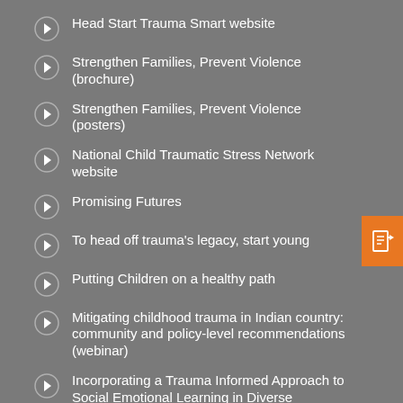Head Start Trauma Smart website
Strengthen Families, Prevent Violence (brochure)
Strengthen Families, Prevent Violence (posters)
National Child Traumatic Stress Network website
Promising Futures
To head off trauma's legacy, start young
Putting Children on a healthy path
Mitigating childhood trauma in Indian country: community and policy-level recommendations (webinar)
Incorporating a Trauma Informed Approach to Social Emotional Learning in Diverse Community Settings (webinar)
San Diego Principal Takes on Trauma (video)
First Person: Dr. Nadine Burke on Childhood Trauma